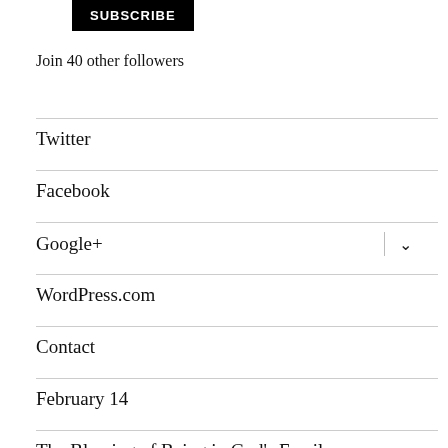SUBSCRIBE
Join 40 other followers
Twitter
Facebook
Google+
WordPress.com
Contact
February 14
The Blessing of Being in God's Family